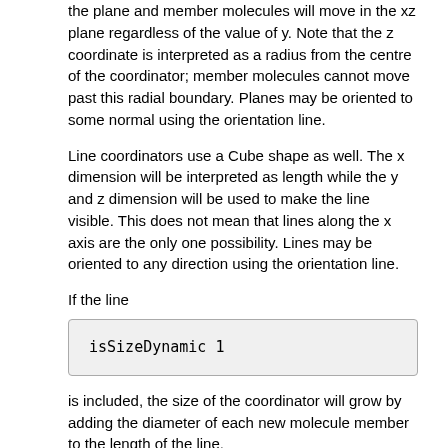the plane and member molecules will move in the xz plane regardless of the value of y. Note that the z coordinate is interpreted as a radius from the centre of the coordinator; member molecules cannot move past this radial boundary. Planes may be oriented to some normal using the orientation line.
Line coordinators use a Cube shape as well. The x dimension will be interpreted as length while the y and z dimension will be used to make the line visible. This does not mean that lines along the x axis are the only one possibility. Lines may be oriented to any direction using the orientation line.
If the line
isSizeDynamic 1
is included, the size of the coordinator will grow by adding the diameter of each new molecule member to the length of the line.